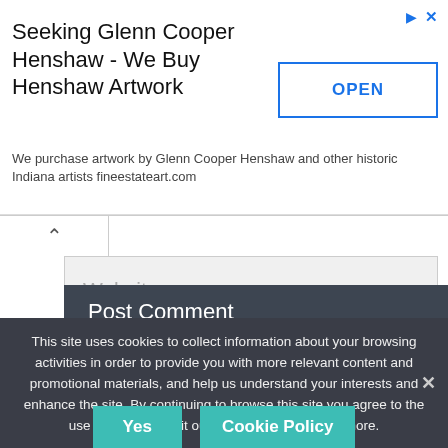[Figure (screenshot): Advertisement banner: 'Seeking Glenn Cooper Henshaw - We Buy Henshaw Artwork' with OPEN button and ad icons]
Website
Save my name, email, and website in this browser for the next time I comment.
Post Comment
This site uses cookies to collect information about your browsing activities in order to provide you with more relevant content and promotional materials, and help us understand your interests and enhance the site. By continuing to browse this site you agree to the use of cookies. Visit our cookie policy to learn more.
Yes
Cookie Policy